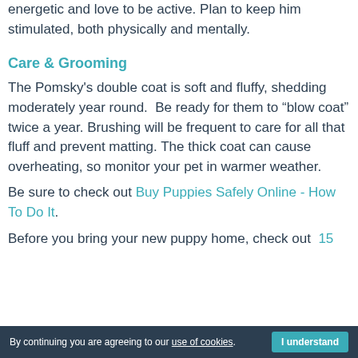energetic and love to be active. Plan to keep him stimulated, both physically and mentally.
Care & Grooming
The Pomsky's double coat is soft and fluffy, shedding moderately year round.  Be ready for them to “blow coat” twice a year. Brushing will be frequent to care for all that fluff and prevent matting. The thick coat can cause overheating, so monitor your pet in warmer weather.
Be sure to check out Buy Puppies Safely Online - How To Do It.
Before you bring your new puppy home, check out  15
By continuing you are agreeing to our use of cookies.